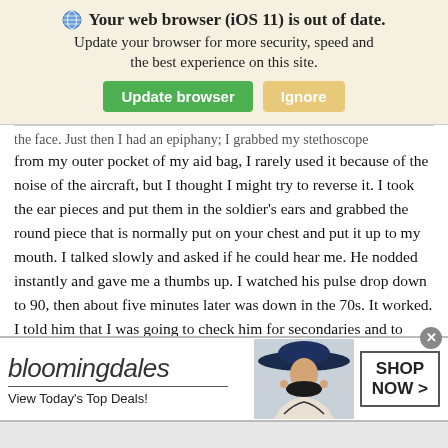[Figure (screenshot): Browser out-of-date notification banner with globe icon, bold title 'Your web browser (iOS 11) is out of date.', subtext 'Update your browser for more security, speed and the best experience on this site.', green 'Update browser' button, and tan 'Ignore' button, on a beige background.]
the face. Just then I had an epiphany; I grabbed my stethoscope from my outer pocket of my aid bag, I rarely used it because of the noise of the aircraft, but I thought I might try to reverse it. I took the ear pieces and put them in the soldier's ears and grabbed the round piece that is normally put on your chest and put it up to my mouth. I talked slowly and asked if he could hear me. He nodded instantly and gave me a thumbs up. I watched his pulse drop down to 90, then about five minutes later was down in the 70s. It worked. I told him that I was going to check him for secondaries and to relax. Quickly I
[Figure (screenshot): Bloomingdale's advertisement banner. Left side shows 'bloomingdales' logo in italic font, a horizontal rule, and text 'View Today's Top Deals!'. Center shows a woman wearing a wide-brim navy hat. Right side shows a bordered box with 'SHOP NOW >' text. Top right has a close (x) button.]